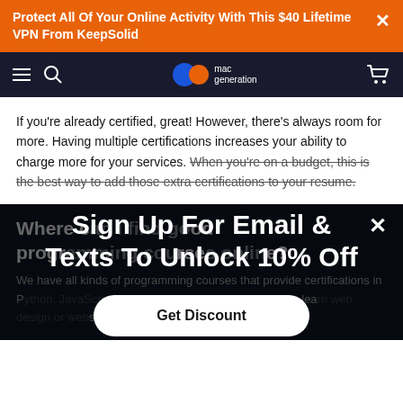Protect All Of Your Online Activity With This $40 Lifetime VPN From KeepSolid
[Figure (logo): Mac Generation logo — two overlapping circles (blue and orange) with 'mac generation' text]
If you’re already certified, great! However, there’s always room for more. Having multiple certifications increases your ability to charge more for your services. When you’re on a budget, this is the best way to add those extra certifications to your resume.
Where can I find good programming courses online?
[Figure (screenshot): Modal popup overlay: 'Sign Up For Email & Texts To Unlock 10% Off' with a 'Get Discount' button]
We have all kinds of programming courses that provide certifications in Python, JavaScript, CSS, Perl, and Java. You can also learn web design or website development (front and back end).